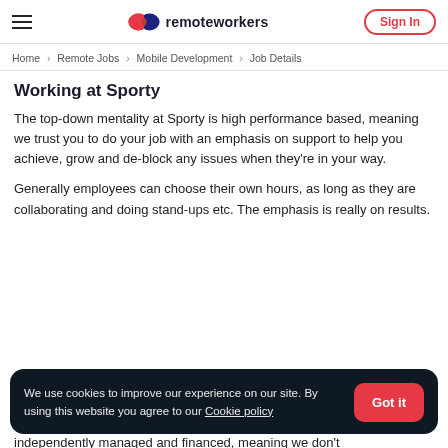remoteworkers — Sign In
Home > Remote Jobs > Mobile Development > Job Details
Working at Sporty
The top-down mentality at Sporty is high performance based, meaning we trust you to do your job with an emphasis on support to help you achieve, grow and de-block any issues when they're in your way.
Generally employees can choose their own hours, as long as they are collaborating and doing stand-ups etc. The emphasis is really on results.
We use cookies to improve our experience on our site. By using this website you agree to our Cookie policy
independently managed and financed, meaning we don't